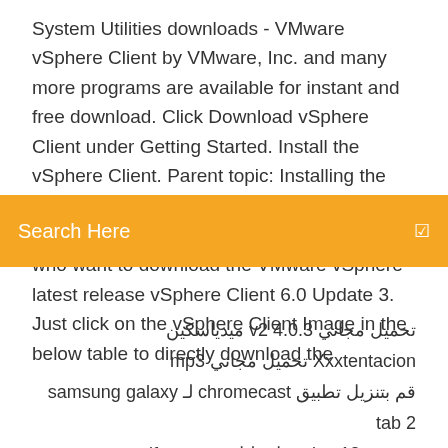System Utilities downloads - VMware vSphere Client by VMware, Inc. and many more programs are available for instant and free download. Click Download vSphere Client under Getting Started. Install the vSphere Client. Parent topic: Installing the vSphere Client × × x: × Jul 04, 2017 · This Post is purely to easy of vSphere Admins who want to download the VMware vSphere
[Figure (other): Orange search bar with text 'Search Here' and a small icon on the right]
latest release vSphere Client 6.0 Update 3. Just click on the vSphere Client Image in the below table to directly download the
تحميل مجاني v2 4.0.3 ميدياسكين
Xxxtentacion تحميل مجاني mp3
قم بتنزيل تطبيق chromecast لـ samsung galaxy tab 2
بتنسيق ios 12 تنزيل دليل مستخدم pdf
أفضل 5 مواقع لتنزيل ألعاب الكمبيوتر المجانية
كيفية تنزيل تعديل على تطورت fortresscraft
occidental.xlsx تحميل ملف البيانات